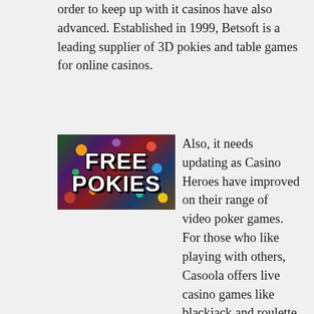order to keep up with it casinos have also advanced. Established in 1999, Betsoft is a leading supplier of 3D pokies and table games for online casinos.
[Figure (photo): Colorful image with text overlay reading FREE POKIES in bold white letters with black outline, on a vibrant multi-colored background with various game-themed imagery.]
Also, it needs updating as Casino Heroes have improved on their range of video poker games. For those who like playing with others, Casoola offers live casino games like blackjack and roulette. Pragmatic Play Roulette Russia is played just like any other standard European roulette game.